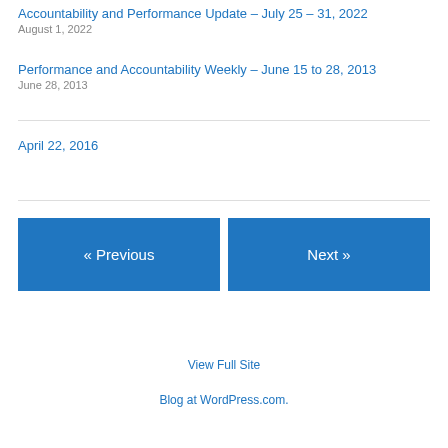Accountability and Performance Update – July 25 – 31, 2022
August 1, 2022
Performance and Accountability Weekly – June 15 to 28, 2013
June 28, 2013
April 22, 2016
« Previous
Next »
View Full Site
Blog at WordPress.com.